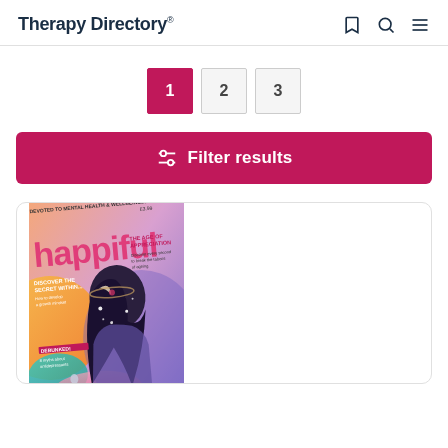Therapy Directory
1
2
3
Filter results
[Figure (illustration): Happiful magazine cover featuring an illustrated woman with stars in her dark hair against a colourful cosmic background. Text reads: DEVOTED TO MENTAL HEALTH & WELLBEING, happiful, THE AGE OF APPRECIATION, DISCOVER THE SECRET WITHIN... How to develop a growth mindset, DEBUNKED! 8 myths about antidepressants, ISSUE 53, £3.99]